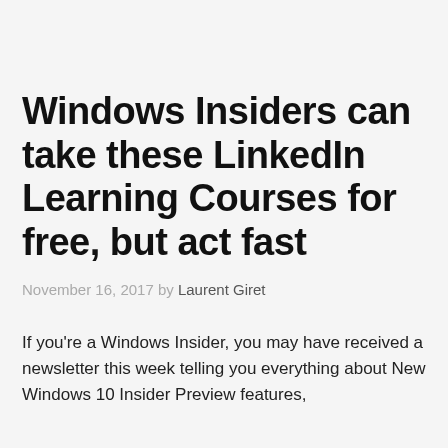Windows Insiders can take these LinkedIn Learning Courses for free, but act fast
November 16, 2017 by Laurent Giret
If you're a Windows Insider, you may have received a newsletter this week telling you everything about New Windows 10 Insider Preview features,